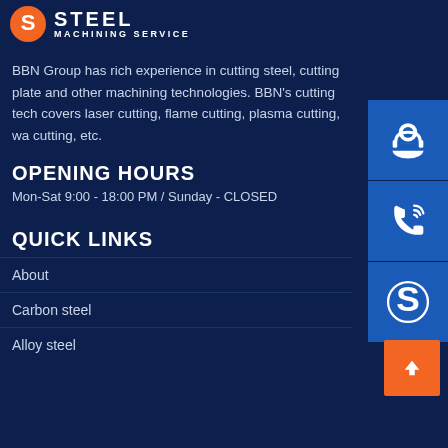STEEL MACHINING SERVICE
BBN Group has rich experience in cutting steel, cutting plate and other machining technologies. BBN's cutting tech covers laser cutting, flame cutting, plasma cutting, wa cutting, etc.
OPENING HOURS
Mon-Sat 9:00 - 18:00 PM / Sunday - CLOSED
QUICK LINKS
About
Carbon steel
Alloy steel